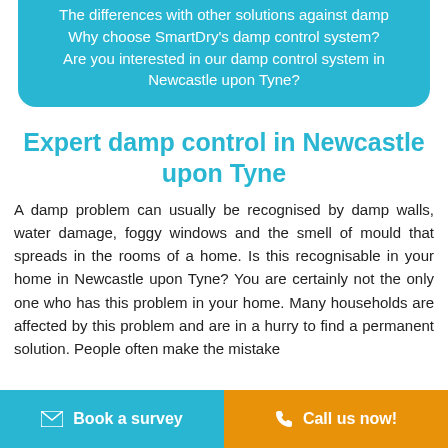The differences with other solutions against damp Why choose SmartDry's damp control system? Are you interested in our damp control system in Newcastle upon Tyne?
Expert damp control in Newcastle upon Tyne
A damp problem can usually be recognised by damp walls, water damage, foggy windows and the smell of mould that spreads in the rooms of a home. Is this recognisable in your home in Newcastle upon Tyne? You are certainly not the only one who has this problem in your home. Many households are affected by this problem and are in a hurry to find a permanent solution. People often make the mistake
Book a survey  |  Call us now!